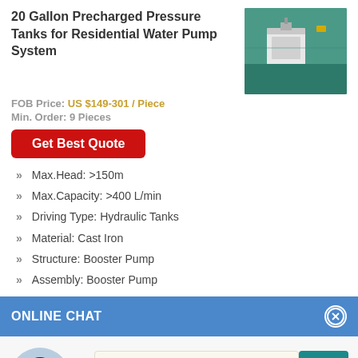20 Gallon Precharged Pressure Tanks for Residential Water Pump System
FOB Price: US $149-301 / Piece
Min. Order: 9 Pieces
[Figure (photo): Product photo of precharged pressure tank manufacturing equipment on green surface]
Get Best Quote
Max.Head: >150m
Max.Capacity: >400 L/min
Driving Type: Hydraulic Tanks
Material: Cast Iron
Structure: Booster Pump
Assembly: Booster Pump
ONLINE CHAT
[Figure (photo): Agent avatar photo of woman named Cilina]
Hi,welcome to visit our website.
Cilina